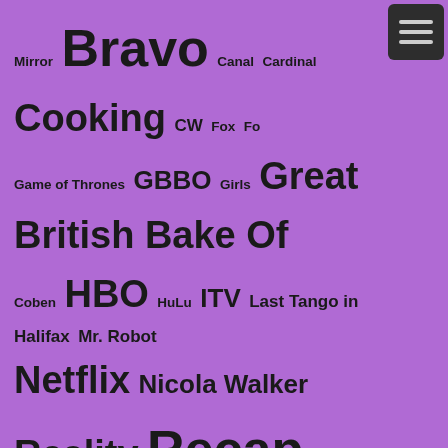Mirror Bravo Canal Cardinal Cooking CW Fox Fox Game of Thrones GBBO Girls Great British Bake Off Coben HBO HuLu ITV Last Tango in Halifax Mr. Robot Netflix Nicola Walker Reality Recap Red Production Company RuPaul's Drag Race Sarah Lancashire Showtime SyFy The Magicians Top Chef Unforgotten Wentworth
Monthly Archives